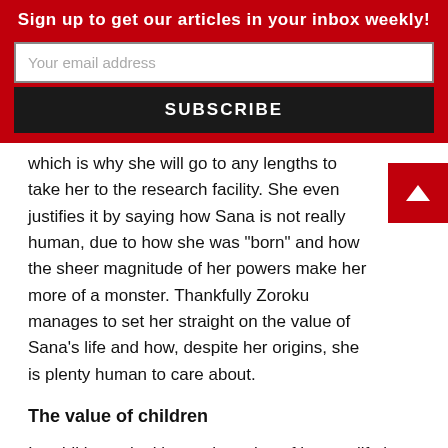Sign up to get our articles in your inbox weekly!
which is why she will go to any lengths to take her to the research facility. She even justifies it by saying how Sana is not really human, due to how she was “born” and how the sheer magnitude of her powers make her more of a monster. Thankfully Zoroku manages to set her straight on the value of Sana’s life and how, despite her origins, she is plenty human to care about.
The value of children
In addition to looking at the value of human life in general, Alice and Zoroku takes an especially close look at the value of children in our society. I could say more